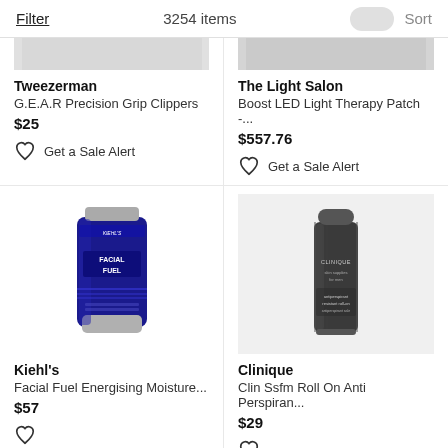Filter   3254 items   Sort
[Figure (photo): Tweezerman G.E.A.R Precision Grip Clippers product image (partially visible, gray background)]
Tweezerman
G.E.A.R Precision Grip Clippers
$25
Get a Sale Alert
[Figure (photo): The Light Salon Boost LED Light Therapy Patch product image (partially visible, gray background)]
The Light Salon
Boost LED Light Therapy Patch -...
$557.76
Get a Sale Alert
[Figure (photo): Kiehl's Facial Fuel Energising Moisture blue tube product image]
Kiehl's
Facial Fuel Energising Moisture...
$57
[Figure (photo): Clinique for Men Roll-On Anti Perspirant dark gray bottle product image]
Clinique
Clin Ssfm Roll On Anti Perspiran...
$29